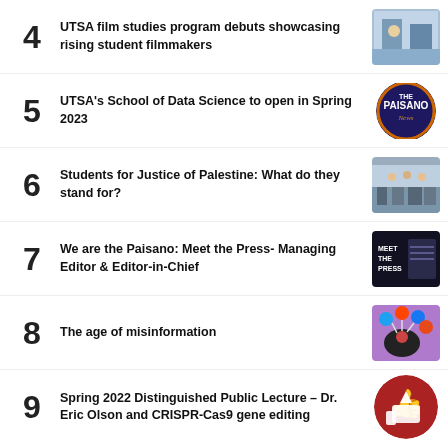4  UTSA film studies program debuts showcasing rising student filmmakers
5  UTSA's School of Data Science to open in Spring 2023
6  Students for Justice of Palestine: What do they stand for?
7  We are the Paisano: Meet the Press- Managing Editor & Editor-in-Chief
8  The age of misinformation
9  Spring 2022 Distinguished Public Lecture – Dr. Eric Olson and CRISPR-Cas9 gene editing